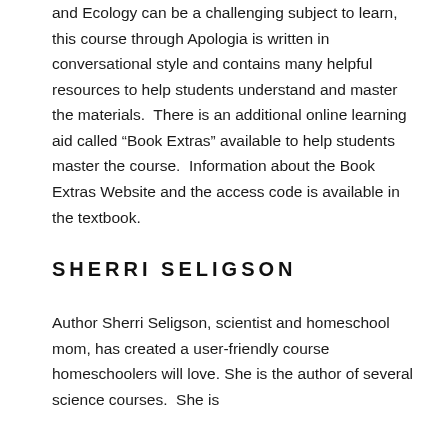and Ecology can be a challenging subject to learn, this course through Apologia is written in conversational style and contains many helpful resources to help students understand and master the materials.  There is an additional online learning aid called “Book Extras” available to help students master the course.  Information about the Book Extras Website and the access code is available in the textbook.
SHERRI SELIGSON
Author Sherri Seligson, scientist and homeschool mom, has created a user-friendly course homeschoolers will love. She is the author of several science courses.  She is